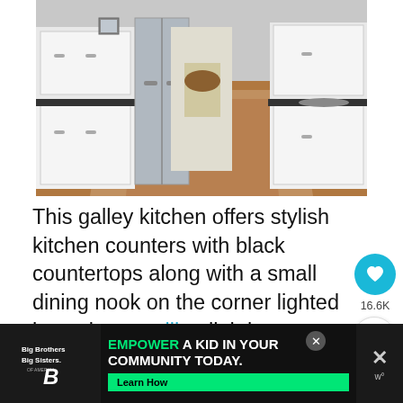[Figure (photo): A galley kitchen with white cabinets, dark countertops, stainless steel appliances, and hardwood floors leading to a small dining nook in the background]
This galley kitchen offers stylish kitchen counters with black countertops along with a small dining nook on the corner lighted by a classy ceiling lighting.
[Figure (other): Gray placeholder box for additional content]
[Figure (infographic): Advertisement banner: Big Brothers Big Sisters logo on left, text EMPOWER A KID IN YOUR COMMUNITY TODAY. with Learn How button in green, close X button on right side]